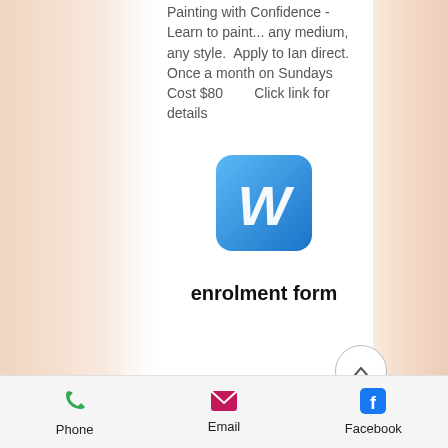Painting with Confidence - Learn to paint... any medium, any style.  Apply to Ian direct. Once a month on Sundays  Cost $80        Click link for details
[Figure (logo): Microsoft Word document icon — blue rounded square with white W letter]
enrolment form
[Figure (logo): Adobe Acrobat PDF icon — red/orange rounded square with white Adobe Acrobat stylized page/quill logo]
Phone   Email   Facebook